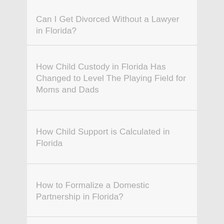Can I Get Divorced Without a Lawyer in Florida?
How Child Custody in Florida Has Changed to Level The Playing Field for Moms and Dads
How Child Support is Calculated in Florida
How to Formalize a Domestic Partnership in Florida?